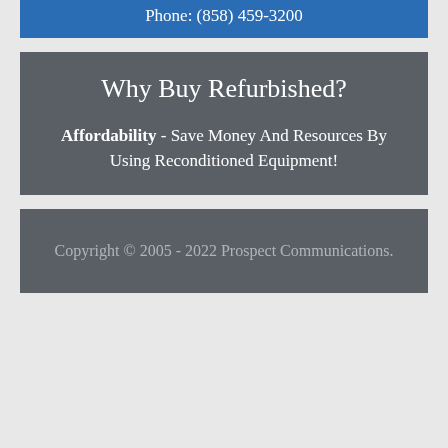Phone: (858) 459-3200
Why Buy Refurbished?
Affordability - Save Money And Resources By Using Reconditioned Equipment!
Copyright © 2005 - 2022 Prospect Communications.